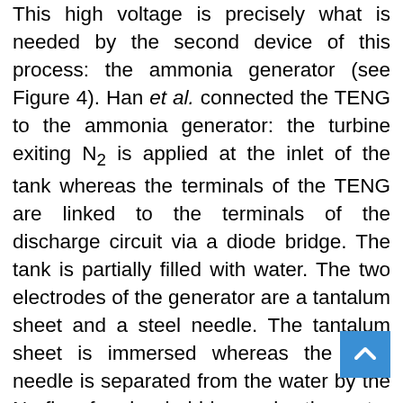This high voltage is precisely what is needed by the second device of this process: the ammonia generator (see Figure 4). Han et al. connected the TENG to the ammonia generator: the turbine exiting N₂ is applied at the inlet of the tank whereas the terminals of the TENG are linked to the terminals of the discharge circuit via a diode bridge. The tank is partially filled with water. The two electrodes of the generator are a tantalum sheet and a steel needle. The tantalum sheet is immersed whereas the steel needle is separated from the water by the N₂ flow forming bubbles under the water level. As the high voltage is applied to the electrodes, N₂ corona discharges occur between the needle tip and the bubble surface. According to the authors N⁺ and N₂⁺ are generated by the discharges. These ions recombine with water to form NH₃, the molecule